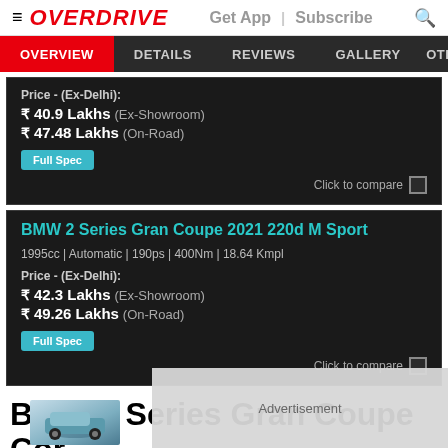≡ OVERDRIVE  Get App | Subscribe 🔍
OVERVIEW  DETAILS  REVIEWS  GALLERY  OTH
Price - (Ex-Delhi):
₹ 40.9 Lakhs  (Ex-Showroom)
₹ 47.48 Lakhs  (On-Road)
Full Spec
Click to compare
BMW 2 Series Gran Coupe 2021 220d M Sport
1995cc | Automatic | 190ps | 400Nm | 18.64 Kmpl
Price - (Ex-Delhi):
₹ 42.3 Lakhs  (Ex-Showroom)
₹ 49.26 Lakhs  (On-Road)
Full Spec
Click to compare
BMW 2 Series Gran Coupe Cor
Advertisement